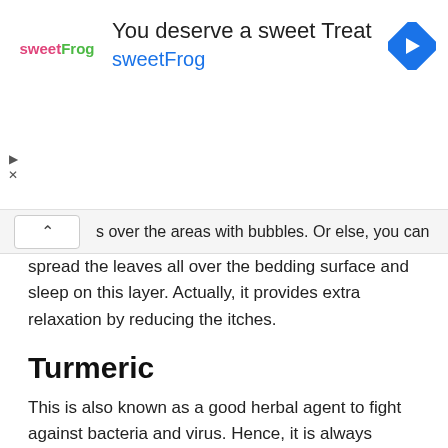[Figure (other): sweetFrog advertisement banner with logo, text 'You deserve a sweet Treat' and 'sweetFrog', navigation arrow icon, and ad controls (play/close buttons)]
s over the areas with bubbles. Or else, you can spread the leaves all over the bedding surface and sleep on this layer. Actually, it provides extra relaxation by reducing the itches.
Turmeric
This is also known as a good herbal agent to fight against bacteria and virus. Hence, it is always advised to add a piece of turmeric into foods for extra care. Further, you may keep a piece of this herb wrapped with a band on your wrist.
Garlic and lime